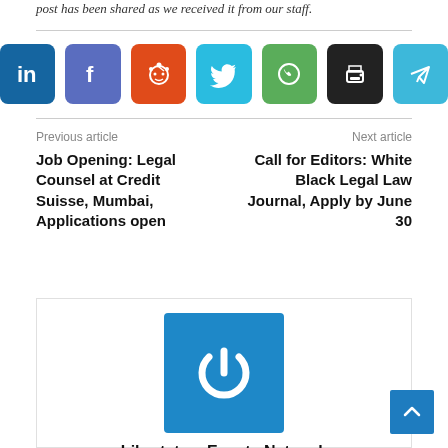post has been shared as we received it from our staff.
[Figure (infographic): Row of 7 social media share buttons: LinkedIn (dark blue), Facebook (medium blue), Reddit (orange), Twitter (light blue), WhatsApp (green), Print (black), Telegram (light blue)]
Previous article
Next article
Job Opening: Legal Counsel at Credit Suisse, Mumbai, Applications open
Call for Editors: White Black Legal Law Journal, Apply by June 30
[Figure (logo): Libertatem Events Network logo — blue square with white power button icon]
Libertatem Events Network